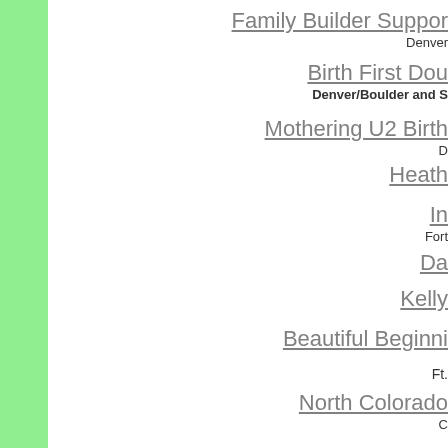Family Builder Support
Denver
Birth First Dou
Denver/Boulder and S
Mothering U2 Birth
D
Heath
In
Fort
Da
Kelly
Beautiful Beginni
Ft.
North Colorado
C